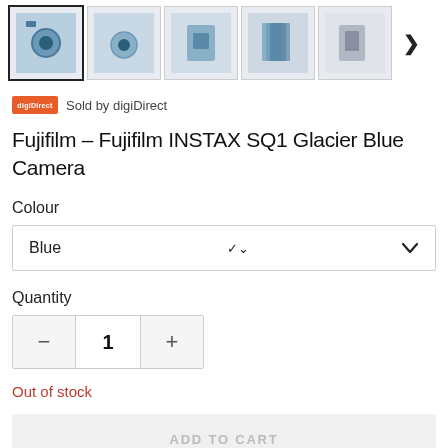[Figure (screenshot): Row of product thumbnail images for Fujifilm INSTAX SQ1 Glacier Blue Camera, with first thumbnail selected (highlighted border), showing camera from various angles. Arrow button on right for navigation.]
Sold by digiDirect
Fujifilm – Fujifilm INSTAX SQ1 Glacier Blue Camera
Colour
Blue
Quantity
1
Out of stock
ADD TO CART